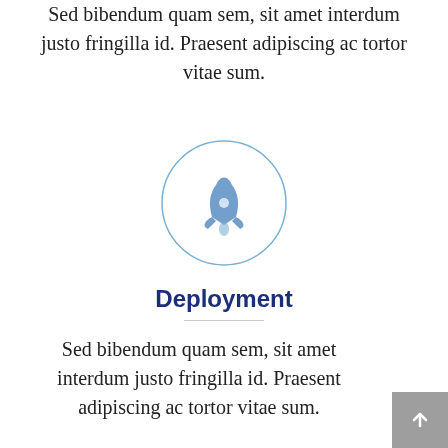Sed bibendum quam sem, sit amet interdum justo fringilla id. Praesent adipiscing ac tortor vitae sum.
[Figure (illustration): A circle outline containing a blue rocket ship icon, representing deployment.]
Deployment
Sed bibendum quam sem, sit amet interdum justo fringilla id. Praesent adipiscing ac tortor vitae sum.